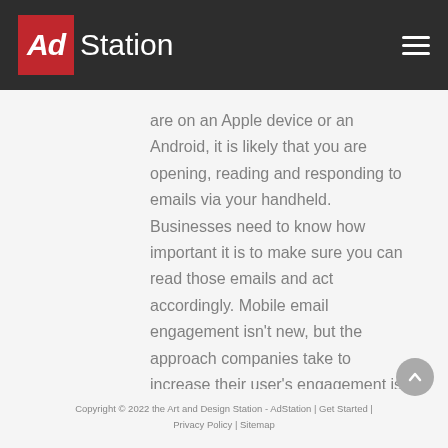AdStation
are on an Apple device or an Android, it is likely that you are opening, reading and responding to emails via your handheld. Businesses need to know how important it is to make sure you can read those emails and act accordingly. Mobile email engagement isn't new, but the approach companies take to increase their user's engagement is an evolving science that needs to be constantly reviewed and revised.
Copyright © 2022 the Art and Design Station - AdStation | Get Started | Privacy Policy | Sitemap